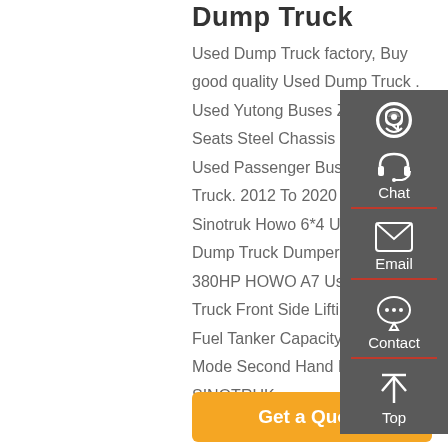Dump Truck
Used Dump Truck factory, Buy good quality Used Dump Truck . Used Yutong Buses Zk6858 35 Seats Steel Chassis Single Door Used Passenger Bus. Used Dump Truck. 2012 To 2020 Model Sinotruk Howo 6*4 Used Tipper Dump Truck Dumper 30 50 Ton. 380HP HOWO A7 Used Dump Truck Front Side Lifting Type 300L Fuel Tanker Capacity. 8×4 Drive Mode Second Hand Dumper Truck SINOTRUK ...
[Figure (infographic): Sidebar overlay with dark grey background containing four items stacked vertically: Chat (headset icon), Email (envelope icon), Contact (speech bubble icon), Top (upward arrow icon). Each item separated by a red horizontal divider line.]
Get a Quote